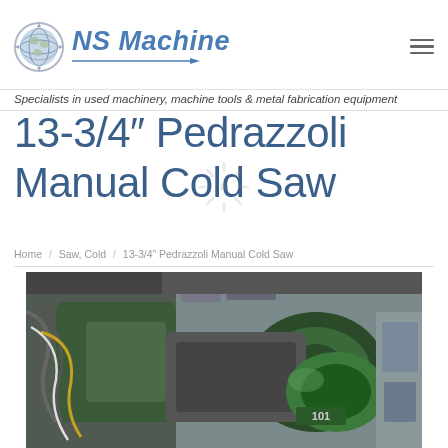NS Machine — Specialists in used machinery, machine tools & metal fabrication equipment
13-3/4″ Pedrazzoli Manual Cold Saw
Home / Saw, Cold / 13-3/4” Pedrazzoli Manual Cold Saw
[Figure (photo): Photo of a Pedrazzoli manual cold saw machine in an industrial setting, showing green machinery components and equipment in a workshop environment]